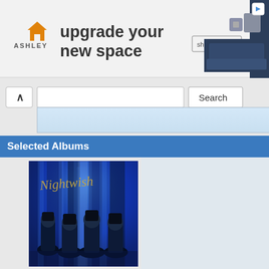[Figure (screenshot): Ashley Furniture advertisement banner: orange house logo, 'ASHLEY' text, 'upgrade your new space' headline, 'shop now' button, sofa image on right, play button top right]
[Figure (screenshot): Web browser search bar with caret/back button, text input field, Search button, and dropdown suggestion area in light blue]
Selected Albums
[Figure (photo): Nightwish album cover — blue-toned image of band members standing in a dark, atmospheric setting with 'Nightwish' written in gold cursive at top]